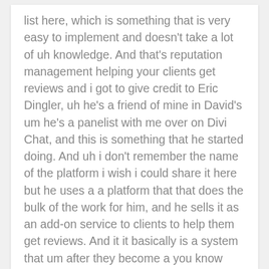list here, which is something that is very easy to implement and doesn't take a lot of uh knowledge. And that's reputation management helping your clients get reviews and i got to give credit to Eric Dingler, uh he's a friend of mine in David's um he's a panelist with me over on Divi Chat, and this is something that he started doing. And uh i don't remember the name of the platform i wish i could share it here but he uses a a platform that that does the bulk of the work for him, and he sells it as an add-on service to clients to help them get reviews. And it it basically is a system that um after they become a you know customer of the client they get automatically gets sent this email. That's uh strategically written to help them uh get uh want to write a review and blah blah. And so it's a really great easy way to get recurring revenue, but it's also something that adds a ton of value to clients, because a lot of times clients don't understand the value of reviews or testimonials and stuff. And so this is something that like like boom on their website this is how to get more reviews from customers.